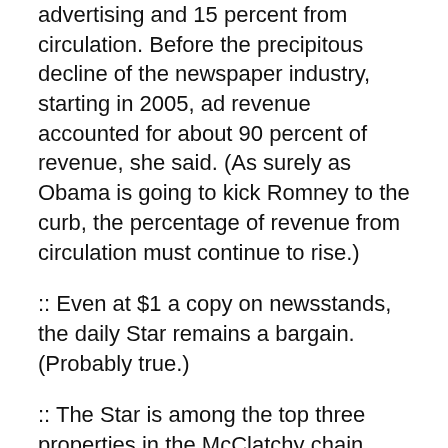advertising and 15 percent from circulation. Before the precipitous decline of the newspaper industry, starting in 2005, ad revenue accounted for about 90 percent of revenue, she said. (As surely as Obama is going to kick Romney to the curb, the percentage of revenue from circulation must continue to rise.)
:: Even at $1 a copy on newsstands, the daily Star remains a bargain. (Probably true.)
:: The Star is among the top three properties in the McClatchy chain. “We’re a big dog,” she said. (See next graph.)
Like the prepared speech, the “big dog” comment bothered me because that dog, while it’s still pretty big, doesn’t have nearly the bite that it used to. And it’s by no means safe to assume that most or all of its teeth will stay